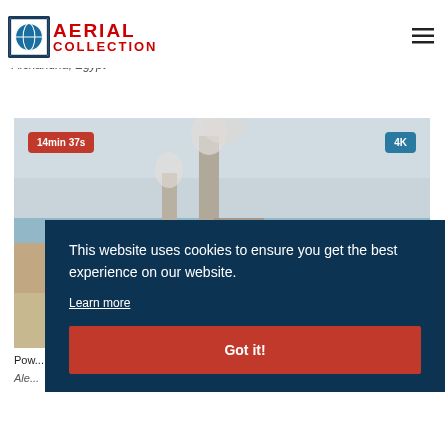AERIAL COLLECTION
Alexandria, Egypt
[Figure (photo): Aerial photo of industrial power plant with tall smokestacks near the sea in Alexandria, Egypt. Badges show '14min 37s' and '4K'.]
This website uses cookies to ensure you get the best experience on our website. Learn more
Got it!
Pow...
Ale...